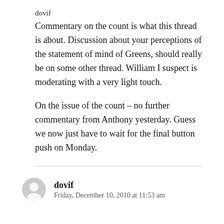dovif
Commentary on the count is what this thread is about. Discussion about your perceptions of the statement of mind of Greens, should really be on some other thread. William I suspect is moderating with a very light touch.

On the issue of the count – no further commentary from Anthony yesterday. Guess we now just have to wait for the final button push on Monday.
dovif
Friday, December 10, 2010 at 11:53 am